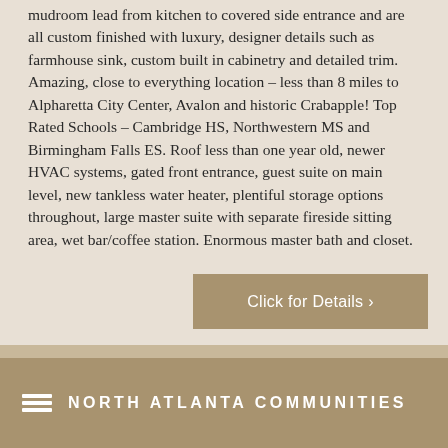mudroom lead from kitchen to covered side entrance and are all custom finished with luxury, designer details such as farmhouse sink, custom built in cabinetry and detailed trim. Amazing, close to everything location – less than 8 miles to Alpharetta City Center, Avalon and historic Crabapple! Top Rated Schools – Cambridge HS, Northwestern MS and Birmingham Falls ES. Roof less than one year old, newer HVAC systems, gated front entrance, guest suite on main level, new tankless water heater, plentiful storage options throughout, large master suite with separate fireside sitting area, wet bar/coffee station. Enormous master bath and closet.
Click for Details ›
NORTH ATLANTA COMMUNITIES